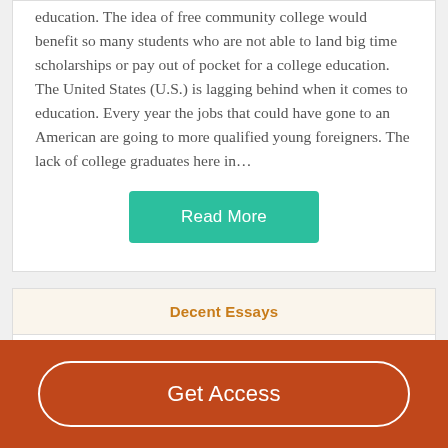education. The idea of free community college would benefit so many students who are not able to land big time scholarships or pay out of pocket for a college education. The United States (U.S.) is lagging behind when it comes to education. Every year the jobs that could have gone to an American are going to more qualified young foreigners. The lack of college graduates here in…
Read More
Decent Essays
Community College Program Benefits
Get Access